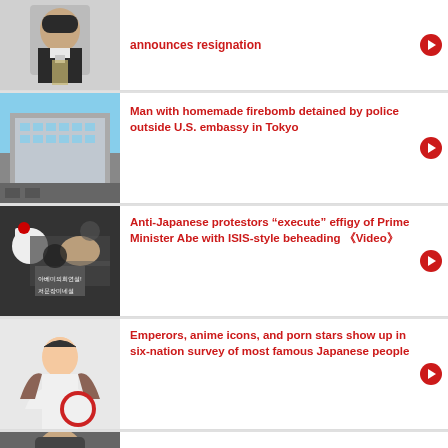[Figure (photo): Japanese Prime Minister Abe headshot in suit with striped tie]
announces resignation
[Figure (photo): U.S. Embassy building in Tokyo, glass skyscraper with blue sky]
Man with homemade firebomb detained by police outside U.S. embassy in Tokyo
[Figure (photo): Anti-Japanese protestors with Korean flag holding effigy, sign in Korean]
Anti-Japanese protestors “execute” effigy of Prime Minister Abe with ISIS-style beheading 《Video》
[Figure (photo): Young Japanese woman in white dress holding red and white fan/flag]
Emperors, anime icons, and porn stars show up in six-nation survey of most famous Japanese people
[Figure (photo): Japanese Prime Minister partial headshot]
Breaking: Japanese Prime Minister finally